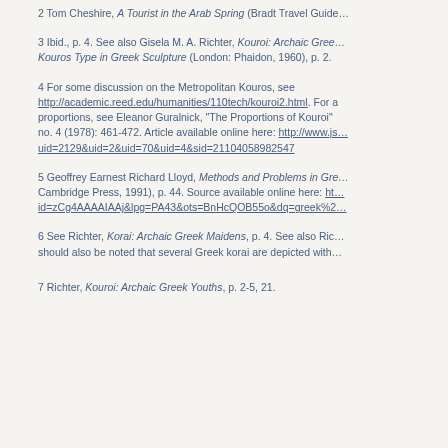2 Tom Cheshire, A Tourist in the Arab Spring (Bradt Travel Guides…
3 Ibid., p. 4. See also Gisela M. A. Richter, Kouroi: Archaic Gree… Kouros Type in Greek Sculpture (London: Phaidon, 1960), p. 2.
4 For some discussion on the Metropolitan Kouros, see http://academic.reed.edu/humanities/110tech/kouroi2.html. For a proportions, see Eleanor Guralnick, "The Proportions of Kouroi" no. 4 (1978): 461-472. Article available online here: http://www.js uid=2129&uid=2&uid=70&uid=4&sid=21104058982547
5 Geoffrey Earnest Richard Lloyd, Methods and Problems in Gre Cambridge Press, 1991), p. 44. Source available online here: ht id=zCg4AAAAIAAj&lpg=PA43&ots=BnHcQOB55o&dq=greek%2…
6 See Richter, Korai: Archaic Greek Maidens, p. 4. See also Ric should also be noted that several Greek korai are depicted with…
7 Richter, Kouroi: Archaic Greek Youths, p. 2-5, 21.